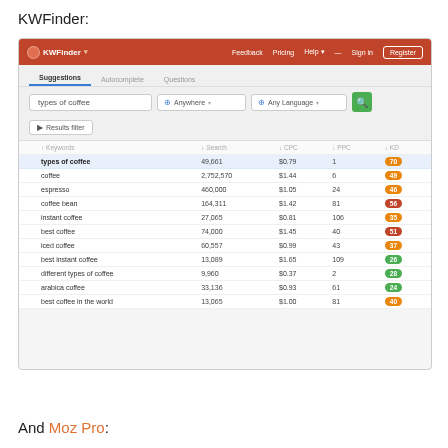KWFinder:
[Figure (screenshot): Screenshot of KWFinder keyword research tool showing search results for 'types of coffee' with columns for Keywords, Search volume, CPC, PPC, and KD (keyword difficulty). Rows include: types of coffee (49,661, $0.79, 1, 70), coffee (2,752,570, $1.44, 6, 49), espresso (460,000, $1.05, 24, 46), coffee bean (164,311, $1.42, 81, 56), instant coffee (27,065, $0.81, 106, 35), best coffee (74,000, $1.45, 40, 51), iced coffee (60,557, $0.99, 43, 37), best instant coffee (13,089, $1.65, 109, 26), different types of coffee (9,960, $0.37, 2, 28), arabica coffee (33,136, $0.93, 61, 24), best coffee in the world (13,065, $1.00, 81).]
And Moz Pro: